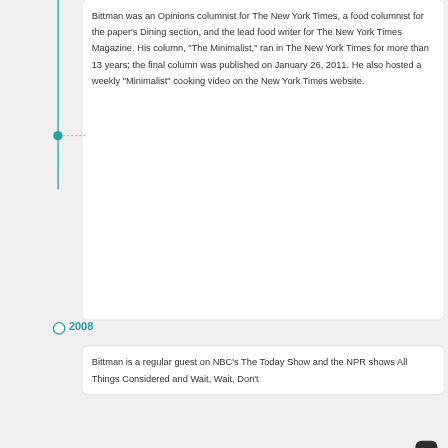Bittman was an Opinions columnist for The New York Times, a food columnist for the paper's Dining section, and the lead food writer for The New York Times Magazine. His column, "The Minimalist," ran in The New York Times for more than 13 years; the final column was published on January 26, 2011. He also hosted a weekly "Minimalist" cooking video on the New York Times website.
2008
Bittman is a regular guest on NBC's The Today Show and the NPR shows All Things Considered and Wait, Wait, Don't